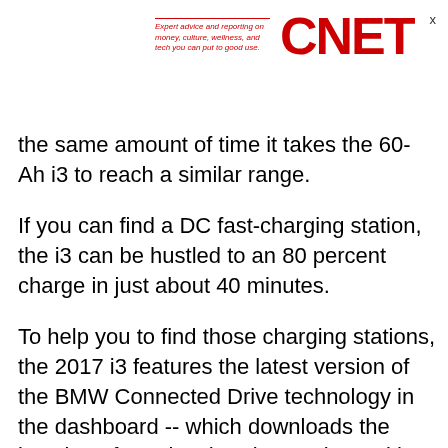Expert advice and reporting on money, culture, wellness, and tech you can put to good use. CNET
the same amount of time it takes the 60-Ah i3 to reach a similar range.
If you can find a DC fast-charging station, the i3 can be hustled to an 80 percent charge in just about 40 minutes.
To help you to find those charging stations, the 2017 i3 features the latest version of the BMW Connected Drive technology in the dashboard -- which downloads the location of nearby charging stations with availability onto the map and allows the i3's navigation software to account for traffic when